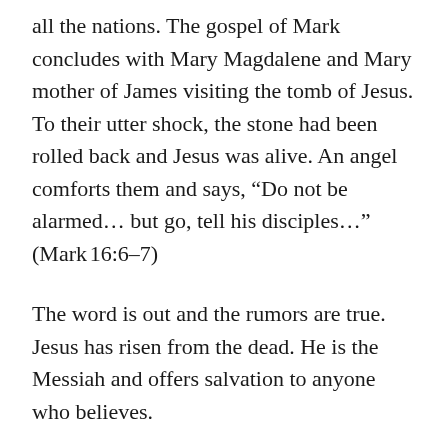all the nations. The gospel of Mark concludes with Mary Magdalene and Mary mother of James visiting the tomb of Jesus. To their utter shock, the stone had been rolled back and Jesus was alive. An angel comforts them and says, “Do not be alarmed… but go, tell his disciples…” (Mark 16:6–7)
The word is out and the rumors are true. Jesus has risen from the dead. He is the Messiah and offers salvation to anyone who believes.
Tremble, believe, and rejoice. But whatever you do, don’t keep it a secret. Tell everyone.